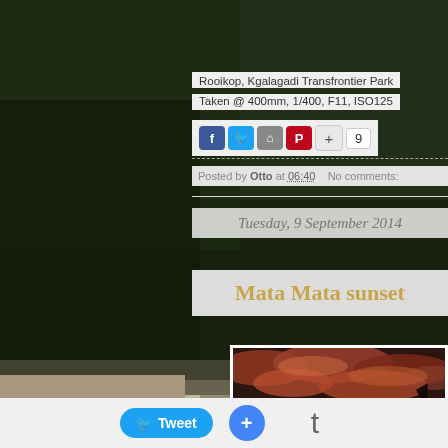[Figure (photo): Dark grainy background photo of bush/ground at night in Kgalagadi Transfrontier Park, with sandy ground visible in lower portion]
Rooikop, Kgalagadi Transfrontier Park
Taken @ 400mm, 1/400, F11, ISO125
[Figure (infographic): Social share buttons: Facebook (blue f), Twitter (blue bird), Home (grey house), Pinterest (red P), plus button, share count showing 9]
Posted by Otto at 06:40   No comments:
Tuesday, 9 September 2014
Mata Mata sunset
[Figure (photo): Sunset photo showing dramatic red and orange clouds against dark sky, with silhouetted tree branches at bottom right]
[Figure (infographic): Bottom toolbar with Tweet button (blue), Google+ button (blue circle with +), and tumblr t button]